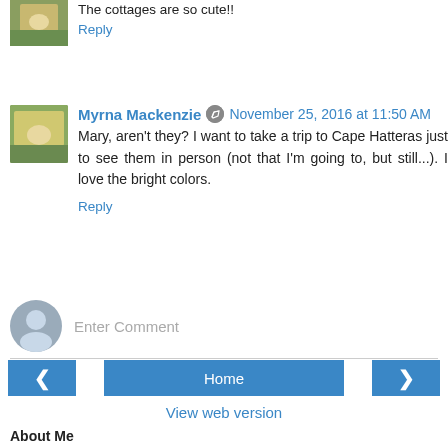The cottages are so cute!!
Reply
Myrna Mackenzie  November 25, 2016 at 11:50 AM
Mary, aren't they? I want to take a trip to Cape Hatteras just to see them in person (not that I'm going to, but still...). I love the bright colors.
Reply
Enter Comment
Home
View web version
About Me
Myrna Mackenzie